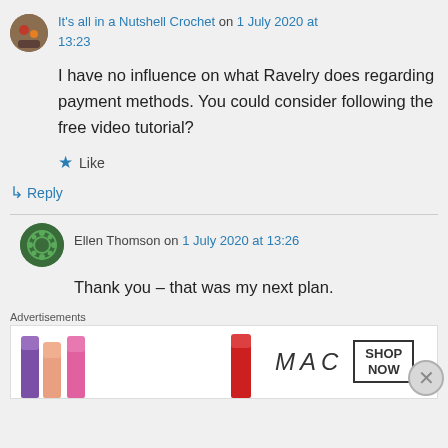It's all in a Nutshell Crochet on 1 July 2020 at 13:23
I have no influence on what Ravelry does regarding payment methods. You could consider following the free video tutorial?
Like
Reply
Ellen Thomson on 1 July 2020 at 13:26
Thank you – that was my next plan.
Advertisements
[Figure (photo): MAC cosmetics advertisement banner showing lipsticks with MAC logo and SHOP NOW button]